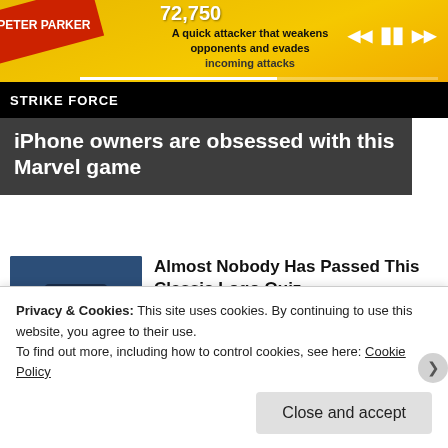[Figure (screenshot): Marvel Strike Force game advertisement banner showing Peter Parker character, number 72,750, description text 'A quick attacker that weakens opponents and evades incoming attacks', media controls, and Strike Force logo on black bar.]
iPhone owners are obsessed with this Marvel game
[Figure (illustration): Illustration of a colonial-era gentleman figure with white wig and dark hat, resembling a Quaker Oats style mascot.]
Almost Nobody Has Passed This Classic Logo Quiz
WarpedSpeed
[Figure (photo): Grayscale photo partially visible at bottom of page, showing a person.]
Boomer Skills That Are
Privacy & Cookies: This site uses cookies. By continuing to use this website, you agree to their use.
To find out more, including how to control cookies, see here: Cookie Policy
Close and accept